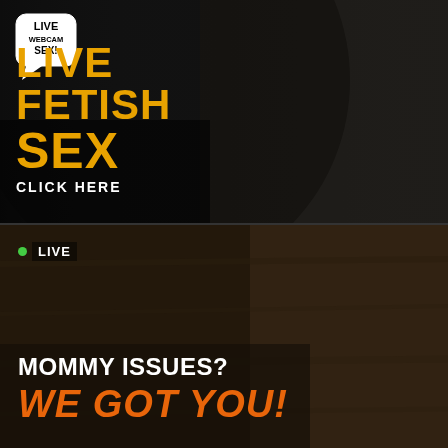[Figure (photo): Advertisement banner: three women in fetish/BDSM costumes against dark brick wall background, with 'LIVE WEBCAM SEX!' logo in top left, large gold text reading 'LIVE FETISH SEX' and white text 'CLICK HERE']
[Figure (photo): Advertisement banner: woman with dark hair against dark background, green live dot with 'LIVE' badge, white text 'MOMMY ISSUES?' and large orange italic text 'WE GOT YOU!']